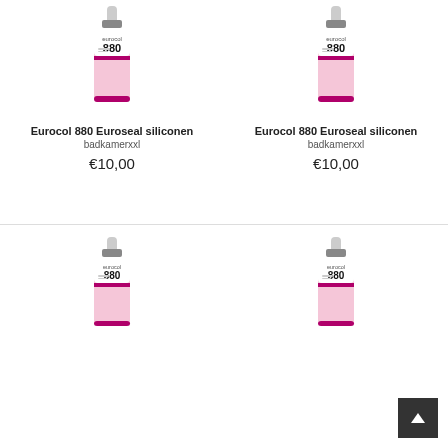[Figure (photo): Eurocol 880 Euroseal siliconen caulk tube with pink/white body and dark cap, left top]
Eurocol 880 Euroseal siliconen
badkamerxxl
€10,00
[Figure (photo): Eurocol 880 Euroseal siliconen caulk tube with pink/white body and dark cap, right top]
Eurocol 880 Euroseal siliconen
badkamerxxl
€10,00
[Figure (photo): Eurocol 880 Euroseal siliconen caulk tube with pink/white body and dark cap, left bottom]
[Figure (photo): Eurocol 880 Euroseal siliconen caulk tube with pink/white body and dark cap, right bottom]